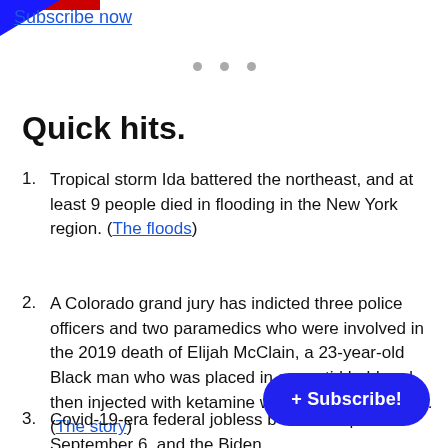Subscribe now
Quick hits.
Tropical storm Ida battered the northeast, and at least 9 people died in flooding in the New York region. (The floods)
A Colorado grand jury has indicted three police officers and two paramedics who were involved in the 2019 death of Elijah McClain, a 23-year-old Black man who was placed in a carotid hold and then injected with ketamine while in police custody. (The story)
Covid-19-era federal jobless b… expire on September 6, and the Biden…